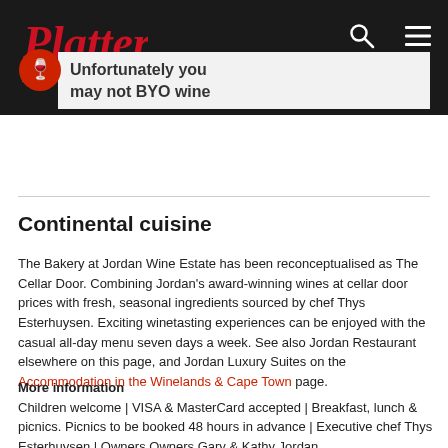Platter's by Diners Club International
Unfortunately you may not BYO wine
Continental cuisine
The Bakery at Jordan Wine Estate has been reconceptualised as The Cellar Door. Combining Jordan’s award-winning wines at cellar door prices with fresh, seasonal ingredients sourced by chef Thys Esterhuysen. Exciting winetasting experiences can be enjoyed with the casual all-day menu seven days a week. See also Jordan Restaurant elsewhere on this page, and Jordan Luxury Suites on the Accommodation in the Winelands & Cape Town page.
More information
Children welcome | VISA & MasterCard accepted | Breakfast, lunch & picnics. Picnics to be booked 48 hours in advance | Executive chef Thys Esterhuysen | Owners Owners Gary & Kathy Jordan